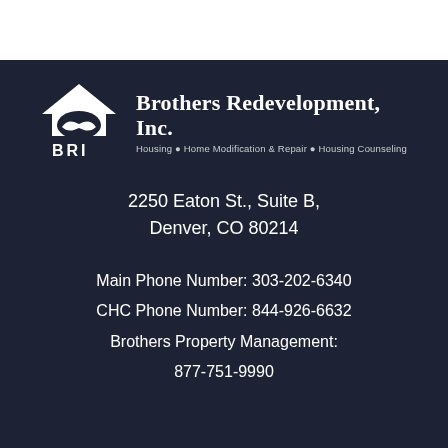[Figure (logo): Brothers Redevelopment, Inc. logo with house icon, handshake icon, and BRI text. White on dark background.]
2250 Eaton St., Suite B,
Denver, CO 80214
Main Phone Number: 303-202-6340
CHC Phone Number: 844-926-6632
Brothers Property Management:
877-751-9990